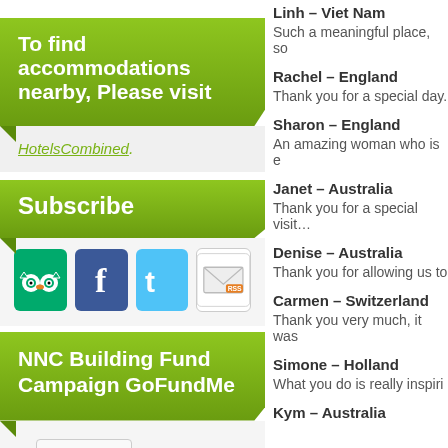Linh – Viet Nam
Such a meaningful place, so…
To find accommodations nearby, Please visit
HotelsCombined.
Rachel – England
Thank you for a special day.
Subscribe
[Figure (other): Social media icons: TripAdvisor, Facebook, Twitter, RSS/Email]
Sharon – England
An amazing woman who is e…
NNC Building Fund Campaign GoFundMe
Janet – Australia
Thank you for a special visit…
Clich Here
Denise – Australia
Thank you for allowing us to…
Link to ACI website
Carmen – Switzerland
Thank you very much, it was…
Simone – Holland
What you do is really inspiri…
Kym – Australia